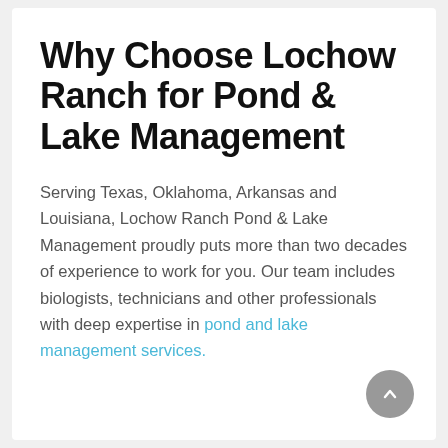Why Choose Lochow Ranch for Pond & Lake Management
Serving Texas, Oklahoma, Arkansas and Louisiana, Lochow Ranch Pond & Lake Management proudly puts more than two decades of experience to work for you. Our team includes biologists, technicians and other professionals with deep expertise in pond and lake management services.